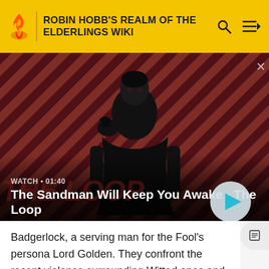ROBIN HOBB'S REALM OF THE ELDERLINGS WIKI
[Figure (screenshot): Hero promotional image for 'The Sandman Will Keep You Awake - The Loop' video. A dark-clothed figure with a raven on his shoulder stands against a red and dark diagonal striped background. Shows WATCH · 01:40 label and a circular play button.]
Badgerlock, a serving man for the Fool's persona Lord Golden. They confront the recent violence surrounding Witted ones and rescue Dutiful from the clutches of his false Wit-bond partner.